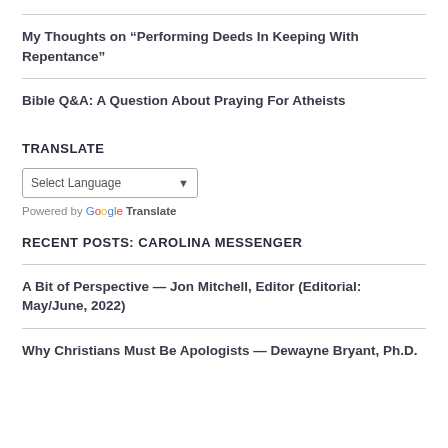My Thoughts on “Performing Deeds In Keeping With Repentance”
Bible Q&A: A Question About Praying For Atheists
TRANSLATE
Select Language ▾ Powered by Google Translate
RECENT POSTS: CAROLINA MESSENGER
A Bit of Perspective — Jon Mitchell, Editor (Editorial: May/June, 2022)
Why Christians Must Be Apologists — Dewayne Bryant, Ph.D.